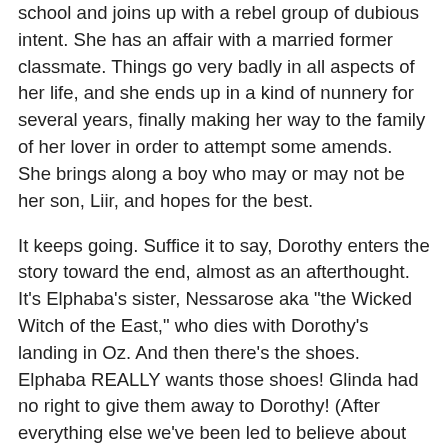school and joins up with a rebel group of dubious intent. She has an affair with a married former classmate. Things go very badly in all aspects of her life, and she ends up in a kind of nunnery for several years, finally making her way to the family of her lover in order to attempt some amends. She brings along a boy who may or may not be her son, Liir, and hopes for the best.
It keeps going. Suffice it to say, Dorothy enters the story toward the end, almost as an afterthought. It's Elphaba's sister, Nessarose aka "the Wicked Witch of the East," who dies with Dorothy's landing in Oz. And then there's the shoes. Elphaba REALLY wants those shoes! Glinda had no right to give them away to Dorothy! (After everything else we've been led to believe about Elphaba, this seemed very out-of-character.) Elphaba meets her end much like she does in the original, but this time we see the misunderstandings that led up to that point.
I'm usually onboard with fairy tale retellings. I was intrigued to get the back story of the Wicked Witch of the West. Maguire does a good job of making her a mostly sympathetic character. The world of Oz that Maguire creates was also